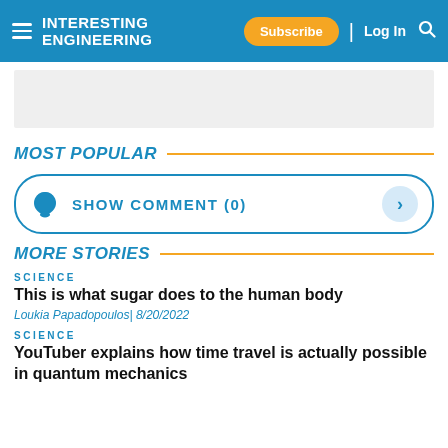Interesting Engineering | Subscribe | Log In
[Figure (other): Gray advertisement placeholder banner]
MOST POPULAR
SHOW COMMENT (0)
MORE STORIES
SCIENCE
This is what sugar does to the human body
Loukia Papadopoulos| 8/20/2022
SCIENCE
YouTuber explains how time travel is actually possible in quantum mechanics